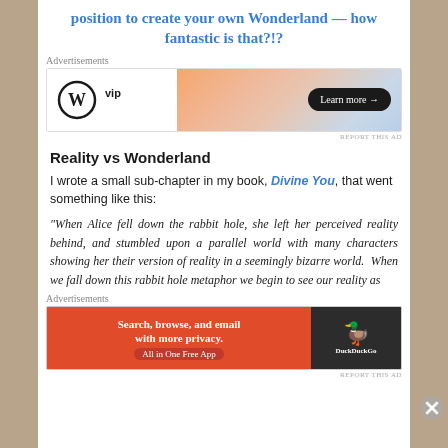position to create your own Wonderland — how fantastic is that?!?
[Figure (screenshot): WordPress VIP advertisement banner with orange gradient and Learn more button]
REPORT THIS AD
Reality vs Wonderland
I wrote a small sub-chapter in my book, Divine You, that went something like this:
"When Alice fell down the rabbit hole, she left her perceived reality behind, and stumbled upon a parallel world with many characters showing her their version of reality in a seemingly bizarre world.  When we fall down this rabbit hole metaphor we begin to see our reality as
[Figure (screenshot): DuckDuckGo advertisement: Search, browse, and email with more privacy. All in One Free App]
REPORT THIS AD